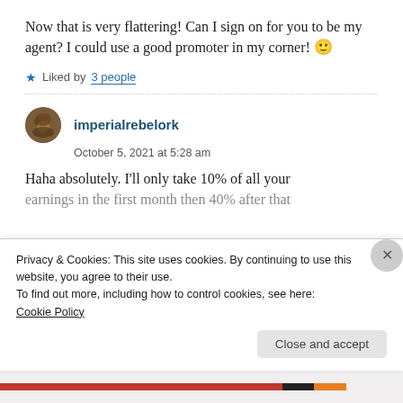Now that is very flattering! Can I sign on for you to be my agent? I could use a good promoter in my corner! 🙂
★ Liked by 3 people
imperialrebelork
October 5, 2021 at 5:28 am
Haha absolutely. I'll only take 10% of all your earnings in the first month then 40% after that
Privacy & Cookies: This site uses cookies. By continuing to use this website, you agree to their use.
To find out more, including how to control cookies, see here: Cookie Policy
Close and accept